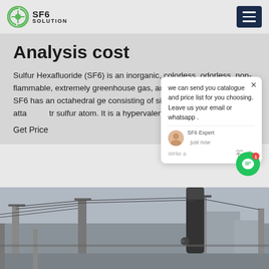SF6 SOLUTION
Analysis cost
Sulfur Hexafluoride (SF6) is an inorganic, colorless, odorless, non-flammable, extremely greenhouse gas, and an excellent e insulator. SF6 has an octahedral ge consisting of six fluorine atoms atta tr sulfur atom. It is a hyperval m
Get Price
[Figure (screenshot): Chat popup overlay with message: 'we can send you catalogue and price list for you choosing. Leave us your email or whatsapp.' with SF6 Expert avatar and input field]
[Figure (photo): Outdoor electrical substation or transmission infrastructure with poles, wires and equipment visible against an overcast sky]